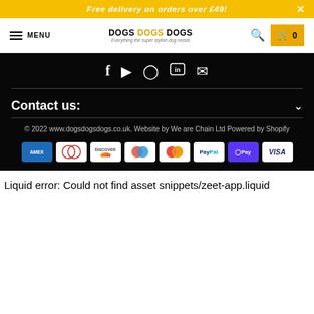Free delivery on orders over £49!
[Figure (screenshot): Website navigation bar with hamburger menu, DOGS DOGS DOGS logo, search icon, and cart showing 0 items]
[Figure (infographic): Social media icons on black background: Facebook, YouTube, Instagram, LinkedIn, Email]
Contact us:
© 2022 www.dogsdogsdogs.co.uk. Website by We are Chain Ltd Powered by Shopify
[Figure (infographic): Payment method icons: American Express, Diners Club, Discover, Maestro, Mastercard, PayPal, Google Pay, Visa]
Liquid error: Could not find asset snippets/zeet-app.liquid